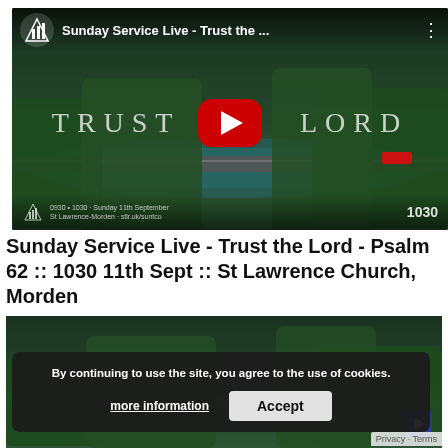[Figure (screenshot): YouTube video thumbnail showing aerial view of a river through forest with 'Trust the Lord' text overlay, YouTube play button, channel icon, video title 'Sunday Service Live - Trust the ...', and timestamp '1030' at bottom right.]
Sunday Service Live - Trust the Lord - Psalm 62 :: 1030 11th Sept :: St Lawrence Church, Morden
[Figure (screenshot): Second YouTube video thumbnail showing aerial forest and river view, partially obscured by cookie consent banner.]
By continuing to use the site, you agree to the use of cookies.
more information
Accept
Privacy - Terms